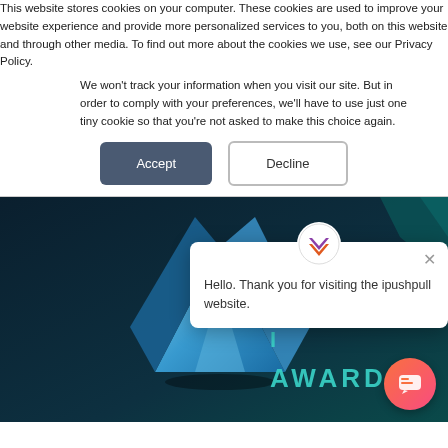This website stores cookies on your computer. These cookies are used to improve your website experience and provide more personalized services to you, both on this website and through other media. To find out more about the cookies we use, see our Privacy Policy.
We won't track your information when you visit our site. But in order to comply with your preferences, we'll have to use just one tiny cookie so that you're not asked to make this choice again.
Accept | Decline
[Figure (screenshot): Website screenshot showing an award banner with a blue crystal/diamond trophy on a dark background with text 'S... I... AWARD', overlaid with a chat widget popup saying 'Hello. Thank you for visiting the ipushpull website.' and an orange chat button in the bottom right corner.]